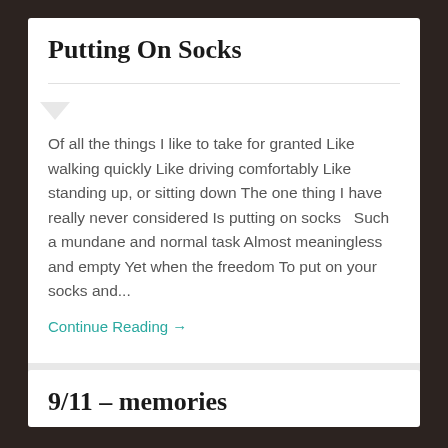Putting On Socks
Of all the things I like to take for granted Like walking quickly Like driving comfortably Like standing up, or sitting down The one thing I have really never considered Is putting on socks   Such a mundane and normal task Almost meaningless and empty Yet when the freedom To put on your socks and...
Continue Reading →
October 7, 2013   5
9/11 – memories